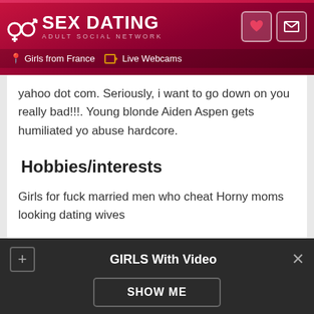SEX DATING ADULT SOCIAL NETWORK | Girls from France | Live Webcams
yahoo dot com. Seriously, i want to go down on you really bad!!!. Young blonde Aiden Aspen gets humiliated yo abuse hardcore.
Hobbies/interests
Girls for fuck married men who cheat Horny moms looking dating wives
[Figure (infographic): Three action icons: envelope/message icon, heart/like icon, warning triangle icon]
GIRLS With Video | SHOW ME